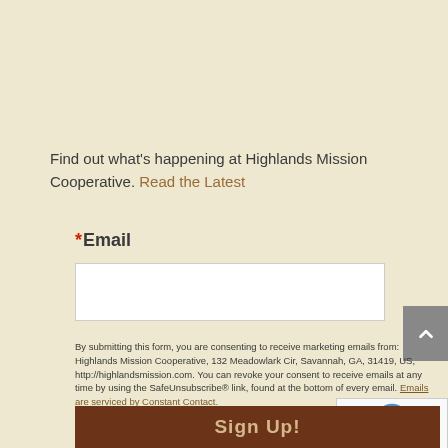Find out what's happening at Highlands Mission Cooperative. Read the Latest
* Email
By submitting this form, you are consenting to receive marketing emails from: Highlands Mission Cooperative, 132 Meadowlark Cir, Savannah, GA, 31419, US, http://highlandsmission.com. You can revoke your consent to receive emails at any time by using the SafeUnsubscribe® link, found at the bottom of every email. Emails are serviced by Constant Contact.
Sign Up!